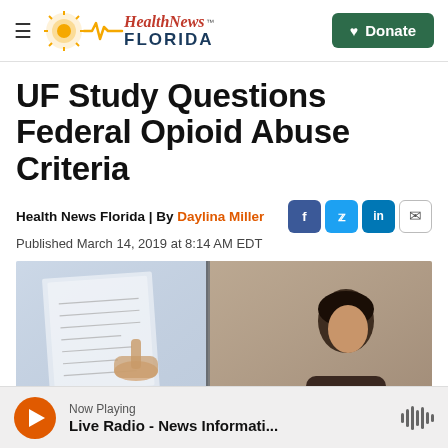Health News Florida — Donate
UF Study Questions Federal Opioid Abuse Criteria
Health News Florida | By Daylina Miller
Published March 14, 2019 at 8:14 AM EDT
[Figure (photo): A person pointing at a document or screen, and another person visible on the right side of the image.]
Now Playing
Live Radio - News Informati...